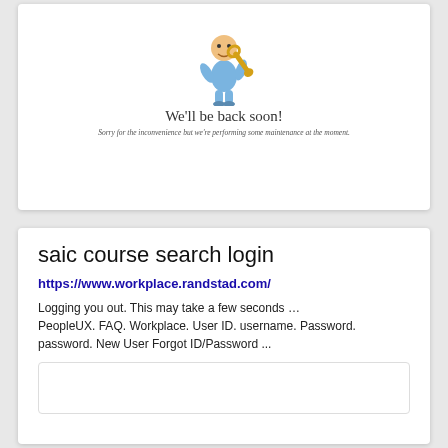[Figure (illustration): Blue cartoon figure holding a wrench, maintenance illustration]
We'll be back soon!
Sorry for the inconvenience but we're performing some maintenance at the moment.
saic course search login
https://www.workplace.randstad.com/
Logging you out. This may take a few seconds … PeopleUX. FAQ. Workplace. User ID. username. Password. password. New User Forgot ID/Password ...